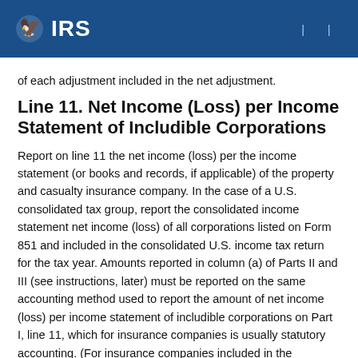IRS
of each adjustment included in the net adjustment.
Line 11. Net Income (Loss) per Income Statement of Includible Corporations
Report on line 11 the net income (loss) per the income statement (or books and records, if applicable) of the property and casualty insurance company. In the case of a U.S. consolidated tax group, report the consolidated income statement net income (loss) of all corporations listed on Form 851 and included in the consolidated U.S. income tax return for the tax year. Amounts reported in column (a) of Parts II and III (see instructions, later) must be reported on the same accounting method used to report the amount of net income (loss) per income statement of includible corporations on Part I, line 11, which for insurance companies is usually statutory accounting. (For insurance companies included in the consolidated U.S. income tax return, see instructions for